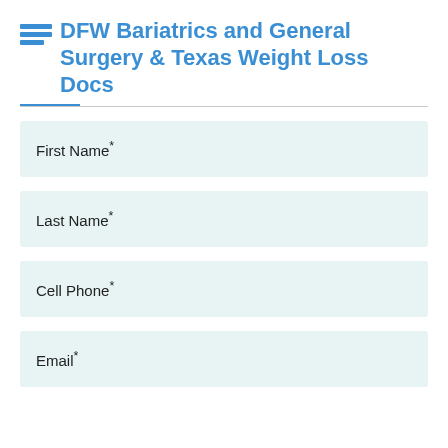DFW Bariatrics and General Surgery & Texas Weight Loss Docs
First Name*
Last Name*
Cell Phone*
Email*